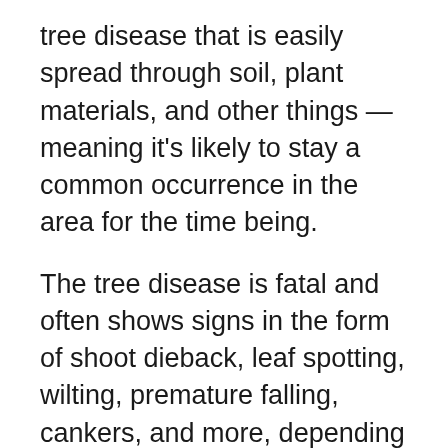tree disease that is easily spread through soil, plant materials, and other things — meaning it's likely to stay a common occurrence in the area for the time being.
The tree disease is fatal and often shows signs in the form of shoot dieback, leaf spotting, wilting, premature falling, cankers, and more, depending on the species it infects and how progressed the disease is.
PERNICIOUS INSECTS